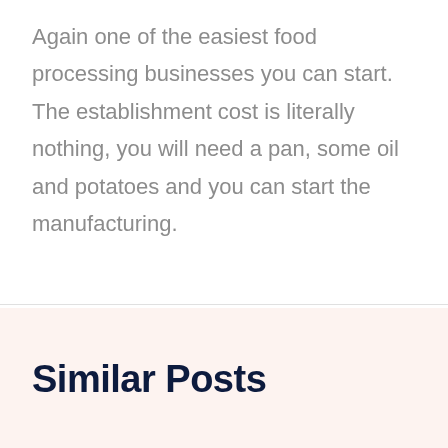Again one of the easiest food processing businesses you can start. The establishment cost is literally nothing, you will need a pan, some oil and potatoes and you can start the manufacturing.
Similar Posts